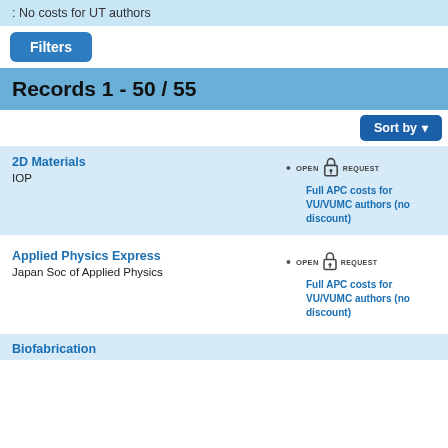: No costs for UT authors
Filters
Records 1 - 50 / 55
Sort by
2D Materials
IOP
Full APC costs for VU/VUMC authors (no discount)
Applied Physics Express
Japan Soc of Applied Physics
Full APC costs for VU/VUMC authors (no discount)
Biofabrication